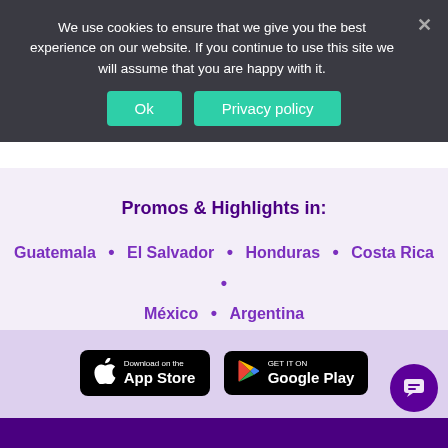We use cookies to ensure that we give you the best experience on our website. If you continue to use this site we will assume that you are happy with it.
Ok  Privacy policy
Promos & Highlights in:
Guatemala • El Salvador • Honduras • Costa Rica • México • Argentina
[Figure (screenshot): App Store download badge - black rounded rectangle with Apple logo and 'Download on the App Store' text]
[Figure (screenshot): Google Play badge - black rounded rectangle with Google Play triangle logo and 'GET IT ON Google Play' text]
OKY™ - purple footer bar with logo